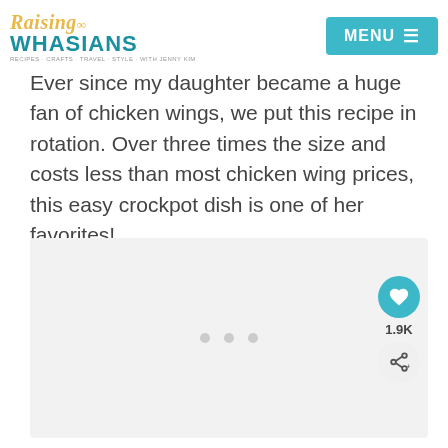Raising Whasians — MENU
Ever since my daughter became a huge fan of chicken wings, we put this recipe in rotation. Over three times the size and costs less than most chicken wing prices, this easy crockpot dish is one of her favorites!
[Figure (photo): Light gray image placeholder with three small gray dots at center, representing a loading or placeholder image area. Action buttons on the right: a teal heart button with 1.9K count, and a share button.]